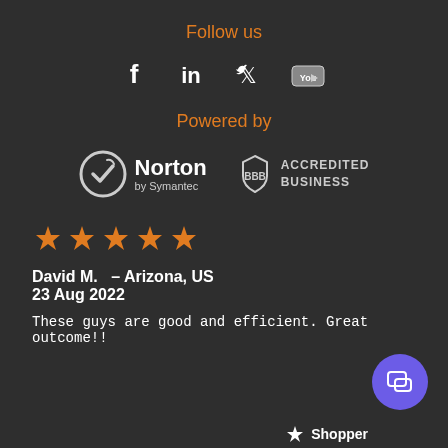Follow us
[Figure (infographic): Social media icons: Facebook, LinkedIn, Twitter, YouTube on dark background]
Powered by
[Figure (logo): Norton by Symantec logo and BBB Accredited Business logo side by side]
[Figure (infographic): Five orange stars rating]
David M.  - Arizona, US
23 Aug 2022
These guys are good and efficient. Great outcome!!
[Figure (infographic): Purple chat bubble icon in bottom right corner]
Shopper